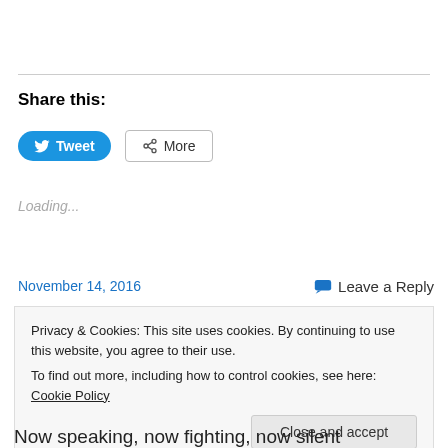Share this:
[Figure (screenshot): Twitter Tweet button (blue pill-shaped) and More share button (outlined)]
Loading...
November 14, 2016
Leave a Reply
Privacy & Cookies: This site uses cookies. By continuing to use this website, you agree to their use. To find out more, including how to control cookies, see here: Cookie Policy
Close and accept
Now speaking, now fighting, now silent